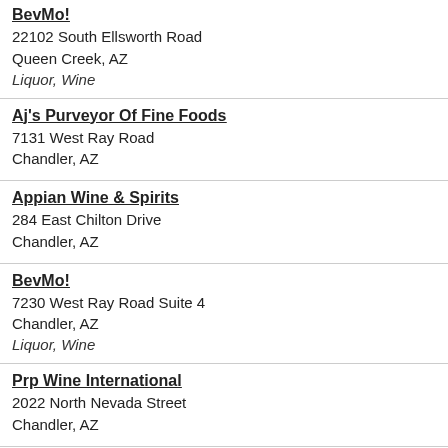BevMo!
22102 South Ellsworth Road
Queen Creek, AZ
Liquor, Wine
Aj's Purveyor Of Fine Foods
7131 West Ray Road
Chandler, AZ
Appian Wine & Spirits
284 East Chilton Drive
Chandler, AZ
BevMo!
7230 West Ray Road Suite 4
Chandler, AZ
Liquor, Wine
Prp Wine International
2022 North Nevada Street
Chandler, AZ